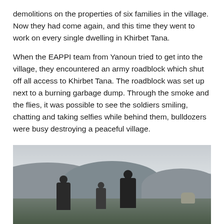demolitions on the properties of six families in the village. Now they had come again, and this time they went to work on every single dwelling in Khirbet Tana.
When the EAPPI team from Yanoun tried to get into the village, they encountered an army roadblock which shut off all access to Khirbet Tana. The roadblock was set up next to a burning garbage dump. Through the smoke and the flies, it was possible to see the soldiers smiling, chatting and taking selfies while behind them, bulldozers were busy destroying a peaceful village.
[Figure (photo): Outdoor photograph showing a hilly landscape with a grey/overcast sky. Three figures (soldiers or people) are visible in the foreground standing on hilly terrain with green-brown scrubby ground. A rocky outcrop is visible to the right.]